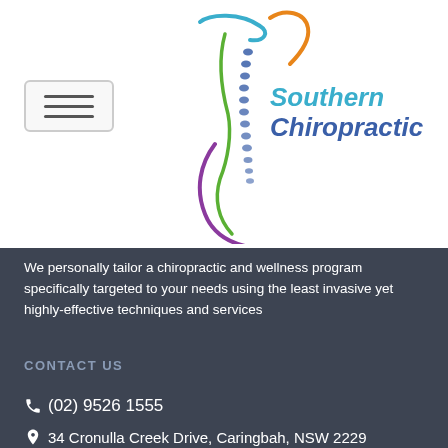[Figure (logo): Southern Chiropractic logo with colorful curved spine lines (blue, orange, green, purple) and text 'Southern Chiropractic' in teal/blue italic font]
We personally tailor a chiropractic and wellness program specifically targeted to your needs using the least invasive yet highly-effective techniques and services
CONTACT US
(02) 9526 1555
34 Cronulla Creek Drive, Caringbah, NSW 2229